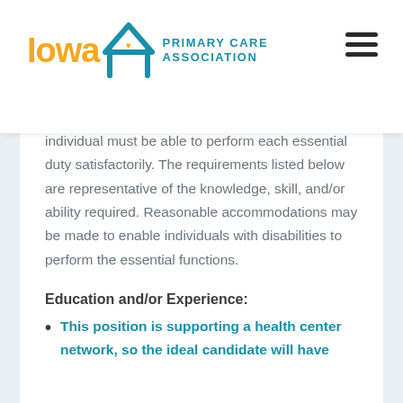[Figure (logo): Iowa Primary Care Association logo with house icon, orange 'Iowa' text and teal 'PRIMARY CARE ASSOCIATION' text]
individual must be able to perform each essential duty satisfactorily. The requirements listed below are representative of the knowledge, skill, and/or ability required. Reasonable accommodations may be made to enable individuals with disabilities to perform the essential functions.
Education and/or Experience:
This position is supporting a health center network, so the ideal candidate will have